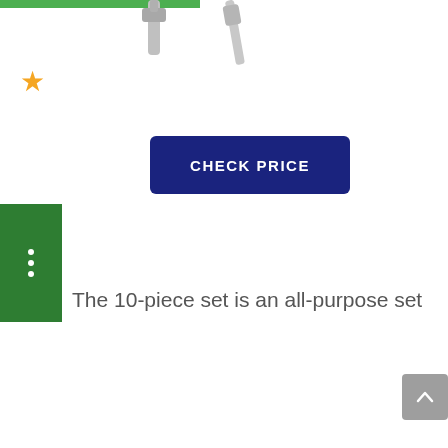[Figure (photo): Partial view of metal tools (wrenches/sockets) cropped at the top of the page, with a green bar across the top]
[Figure (illustration): Orange/yellow star rating icon on the left side]
[Figure (other): Dark navy blue button with bold white text reading CHECK PRICE]
[Figure (other): Dark green vertical sidebar with three white dots]
The 10-piece set is an all-purpose set
[Figure (other): Grey scroll-to-top button with upward chevron arrow, bottom right corner]